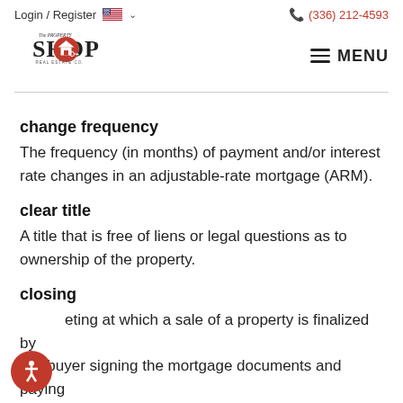Login / Register   (336) 212-4593
[Figure (logo): The Property Shop Real Estate Co. logo with red circle containing a house/key icon]
change frequency
The frequency (in months) of payment and/or interest rate changes in an adjustable-rate mortgage (ARM).
clear title
A title that is free of liens or legal questions as to ownership of the property.
closing
A meeting at which a sale of a property is finalized by the buyer signing the mortgage documents and paying